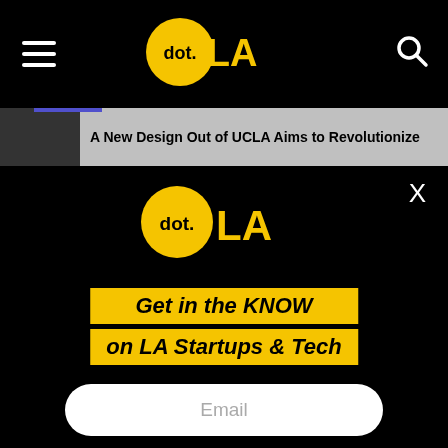dot.LA
A New Design Out of UCLA Aims to Revolutionize
[Figure (logo): dot.LA logo — yellow circle with 'dot.' text and 'LA' in yellow, on black background]
X
Get in the KNOW on LA Startups & Tech
Email